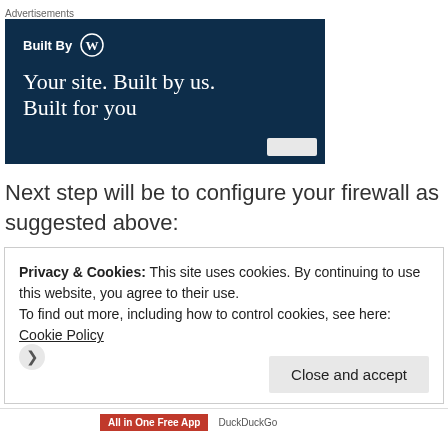[Figure (screenshot): WordPress advertisement banner with dark navy background showing 'Built By WordPress logo' and 'Your site. Built by us. Built for you' text]
Next step will be to configure your firewall as suggested above:
Privacy & Cookies: This site uses cookies. By continuing to use this website, you agree to their use.
To find out more, including how to control cookies, see here: Cookie Policy
Close and accept